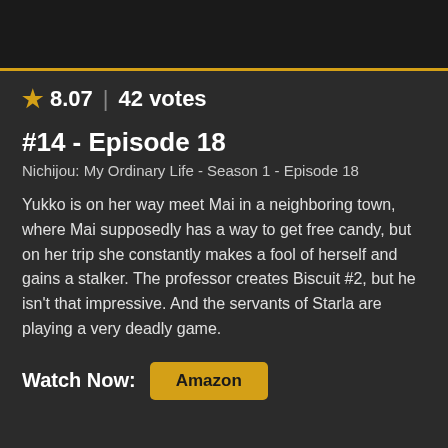★ 8.07 | 42 votes
#14 - Episode 18
Nichijou: My Ordinary Life - Season 1 - Episode 18
Yukko is on her way meet Mai in a neighboring town, where Mai supposedly has a way to get free candy, but on her trip she constantly makes a fool of herself and gains a stalker. The professor creates Biscuit #2, but he isn't that impressive. And the servants of Starla are playing a very deadly game.
Watch Now: Amazon